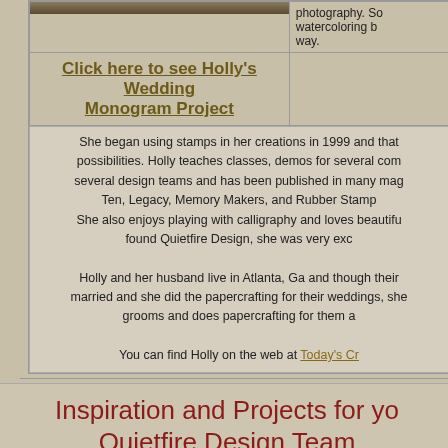[Figure (photo): Photo of Holly at the top of the page (partially visible, cropped)]
Click here to see Holly's Wedding Monogram Project
photography. So watercoloring b way.
She began using stamps in her creations in 1999 and that possibilities. Holly teaches classes, demos for several com several design teams and has been published in many mag Ten, Legacy, Memory Makers, and Rubber Stamp She also enjoys playing with calligraphy and loves beautifu found Quietfire Design, she was very exc
Holly and her husband live in Atlanta, Ga and though their married and she did the papercrafting for their weddings, she grooms and does papercrafting for them a
You can find Holly on the web at Today's Cr
Inspiration and Projects for yo Quietfire Design Team
Catch the Weekly Design Team P
Make sure you're a newsletter subscriber and if you're a registered us Projects Newsletter (even though it won't always be cards - I'm afraid to change the name do!).